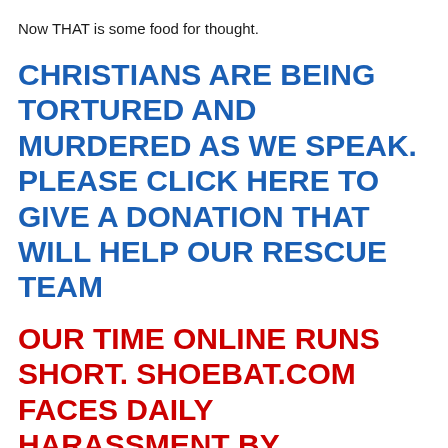Now THAT is some food for thought.
CHRISTIANS ARE BEING TORTURED AND MURDERED AS WE SPEAK. PLEASE CLICK HERE TO GIVE A DONATION THAT WILL HELP OUR RESCUE TEAM
OUR TIME ONLINE RUNS SHORT. SHOEBAT.COM FACES DAILY HARASSMENT BY FACEBOOK AND EACH TIME IT IS A DIFFERENT EXCUSE. IT IS BEST TO REACH US BY EITHER GOING DIRECTLY TO